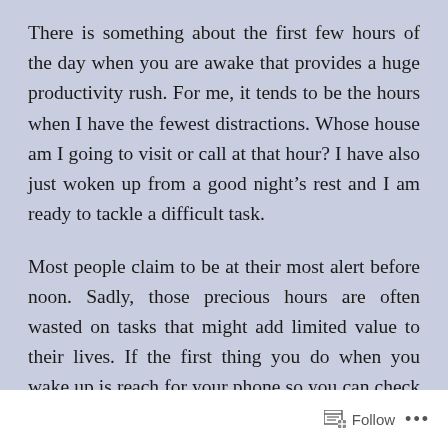There is something about the first few hours of the day when you are awake that provides a huge productivity rush. For me, it tends to be the hours when I have the fewest distractions. Whose house am I going to visit or call at that hour? I have also just woken up from a good night’s rest and I am ready to tackle a difficult task.
Most people claim to be at their most alert before noon. Sadly, those precious hours are often wasted on tasks that might add limited value to their lives. If the first thing you do when you wake up is reach for your phone so you can check what happened across social media while you were asleep, you might be among those falling into the category of those who are wasting their
Follow ...